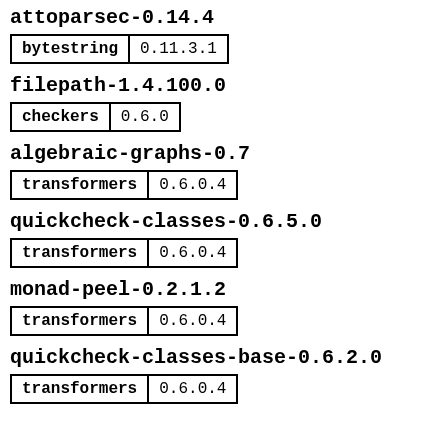attoparsec-0.14.4
| bytestring | 0.11.3.1 |
filepath-1.4.100.0
| checkers | 0.6.0 |
algebraic-graphs-0.7
| transformers | 0.6.0.4 |
quickcheck-classes-0.6.5.0
| transformers | 0.6.0.4 |
monad-peel-0.2.1.2
| transformers | 0.6.0.4 |
quickcheck-classes-base-0.6.2.0
| transformers | 0.6.0.4 |